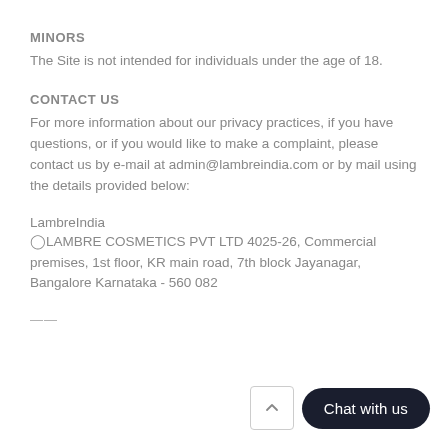MINORS
The Site is not intended for individuals under the age of 18.
CONTACT US
For more information about our privacy practices, if you have questions, or if you would like to make a complaint, please contact us by e-mail at admin@lambreindia.com or by mail using the details provided below:
LambreIndia
LAMBRE COSMETICS PVT LTD 4025-26, Commercial premises, 1st floor, KR main road, 7th block Jayanagar, Bangalore Karnataka - 560 082
——